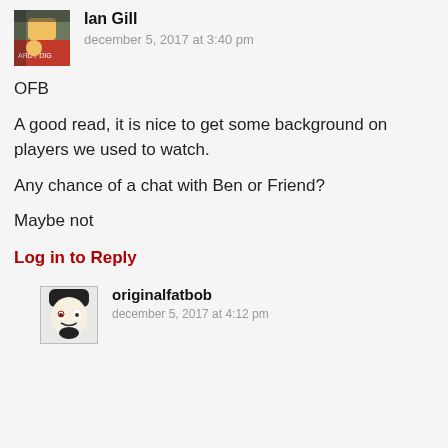Ian Gill
december 5, 2017 at 3:40 pm
OFB
A good read, it is nice to get some background on players we used to watch.
Any chance of a chat with Ben or Friend?
Maybe not
Log in to Reply
originalfatbob
december 5, 2017 at 4:12 pm